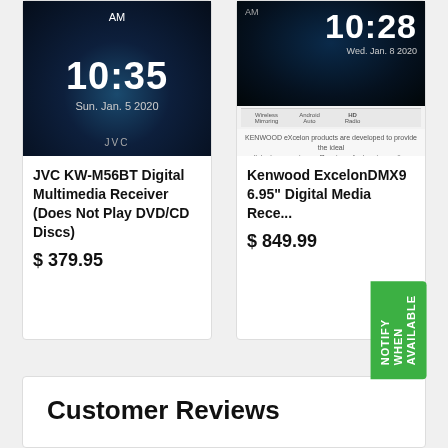[Figure (screenshot): JVC KW-M56BT product card showing a touchscreen display with time 10:35, date Sun. Jan. 5 2020]
JVC KW-M56BT Digital Multimedia Receiver (Does Not Play DVD/CD Discs)
$ 379.95
[Figure (screenshot): Kenwood ExcelonDMX9 product card showing touchscreen display with time 10:28, date Wed. Jan. 8 2020, with product description text and navigation icons]
Kenwood ExcelonDMX9 6.95" Digital Media Receiver
$ 849.99
Customer Reviews